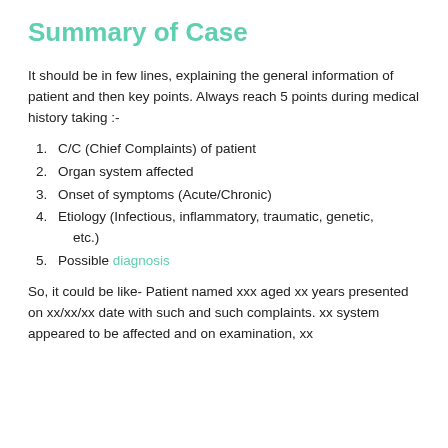Summary of Case
It should be in few lines, explaining the general information of patient and then key points. Always reach 5 points during medical history taking :-
C/C (Chief Complaints) of patient
Organ system affected
Onset of symptoms (Acute/Chronic)
Etiology (Infectious, inflammatory, traumatic, genetic, etc.)
Possible diagnosis
So, it could be like- Patient named xxx aged xx years presented on xx/xx/xx date with such and such complaints. xx system appeared to be affected and on examination, xx